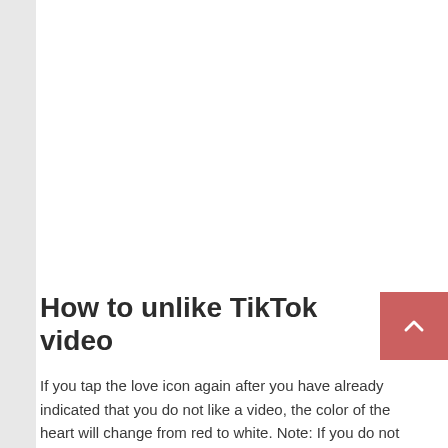How to unlike TikTok video
If you tap the love icon again after you have already indicated that you do not like a video, the color of the heart will change from red to white. Note: If you do not